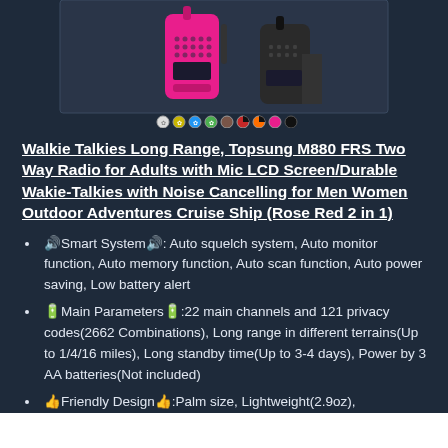[Figure (photo): Pink walkie-talkies (Topsung M880) shown from the front against a dark background, with color variant swatches below (white, yellow, blue, green, brown, red, orange, pink, black).]
Walkie Talkies Long Range, Topsung M880 FRS Two Way Radio for Adults with Mic LCD Screen/Durable Wakie-Talkies with Noise Cancelling for Men Women Outdoor Adventures Cruise Ship (Rose Red 2 in 1)
🔊Smart System🔊: Auto squelch system, Auto monitor function, Auto memory function, Auto scan function, Auto power saving, Low battery alert
🔋Main Parameters🔋:22 main channels and 121 privacy codes(2662 Combinations), Long range in different terrains(Up to 1/4/16 miles), Long standby time(Up to 3-4 days), Power by 3 AA batteries(Not included)
👍Friendly Design👍:Palm size, Lightweight(2.9oz),